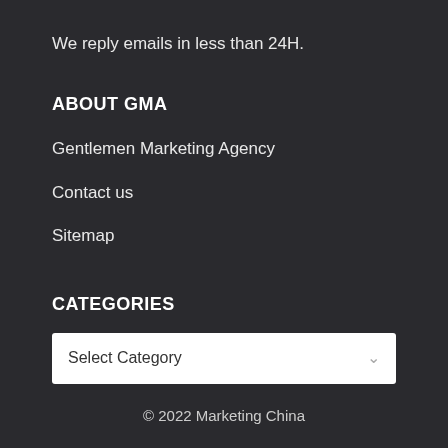We reply emails in less than 24H.
ABOUT GMA
Gentlemen Marketing Agency
Contact us
Sitemap
CATEGORIES
Select Category
© 2022 Marketing China